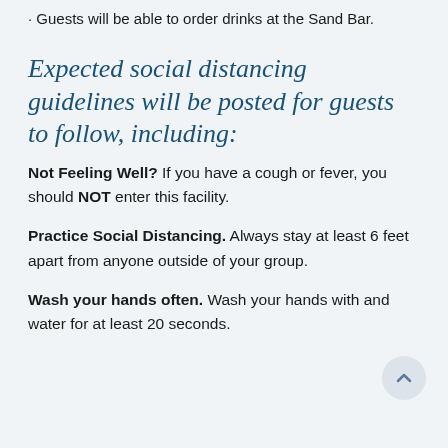· Guests will be able to order drinks at the Sand Bar.
Expected social distancing guidelines will be posted for guests to follow, including:
Not Feeling Well? If you have a cough or fever, you should NOT enter this facility.
Practice Social Distancing. Always stay at least 6 feet apart from anyone outside of your group.
Wash your hands often. Wash your hands with and water for at least 20 seconds.